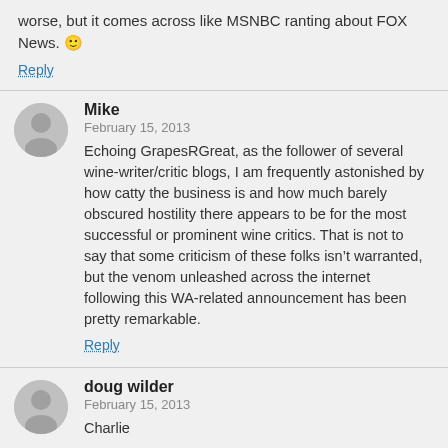worse, but it comes across like MSNBC ranting about FOX News. 🙂
Reply
Mike
February 15, 2013
Echoing GrapesRGreat, as the follower of several wine-writer/critic blogs, I am frequently astonished by how catty the business is and how much barely obscured hostility there appears to be for the most successful or prominent wine critics. That is not to say that some criticism of these folks isn't warranted, but the venom unleashed across the internet following this WA-related announcement has been pretty remarkable.
Reply
doug wilder
February 15, 2013
Charlie